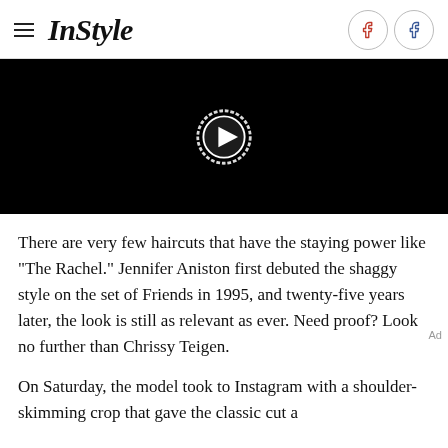InStyle
[Figure (screenshot): Black video player with circular play button in the center]
There are very few haircuts that have the staying power like "The Rachel." Jennifer Aniston first debuted the shaggy style on the set of Friends in 1995, and twenty-five years later, the look is still as relevant as ever. Need proof? Look no further than Chrissy Teigen.
On Saturday, the model took to Instagram with a shoulder-skimming crop that gave the classic cut a